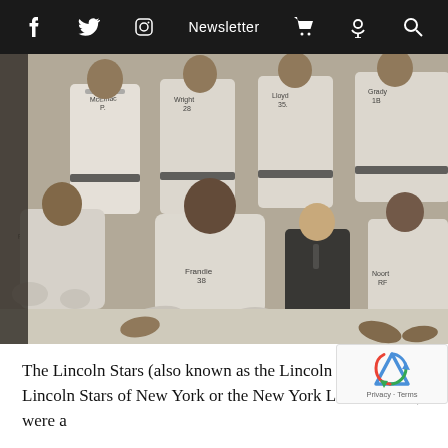f  Twitter  Instagram  Newsletter  Cart  Podcast  Search
[Figure (photo): Black and white historical photograph of the Lincoln Stars baseball team, showing players in uniforms with names written on jerseys including 'Frankie 38', 'Wright 28', 'Lloyd 35', 'Grady 1B', arranged in rows with some seated on the ground. Text annotations visible: 'Frankie RF', 'L. Garcia.' at bottom.]
The Lincoln Stars (also known as the Lincoln Giants, Lincoln Stars of New York or the New York Lincoln Stars) were a